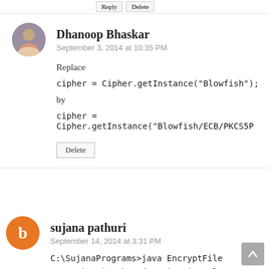Reply  Delete
Dhanoop Bhaskar
September 3, 2014 at 10:35 PM
Replace
cipher = Cipher.getInstance("Blowfish");
by
cipher =
Cipher.getInstance("Blowfish/ECB/PKCS5P
Delete
sujana pathuri
September 14, 2014 at 3:31 PM
C:\SujanaPrograms>java EncryptFile
Exception in thread "main" java.lang.NoClassDefFo
EncryptFile (wrong na
me: com/java/blowfish/EncryptFile)
at java.lang.ClassLoader.defineClass1(Native Metho
at java.lang.ClassLoader.defineClass(Unknown S…